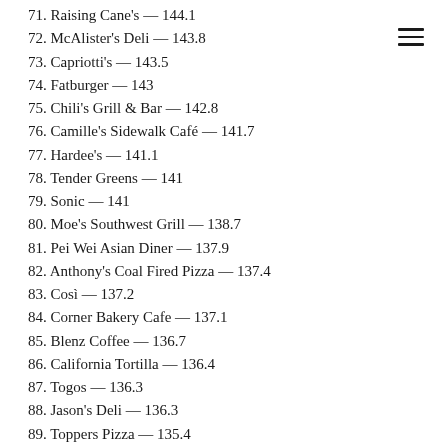71. Raising Cane's — 144.1
72. McAlister's Deli — 143.8
73. Capriotti's — 143.5
74. Fatburger — 143
75. Chili's Grill & Bar — 142.8
76. Camille's Sidewalk Café — 141.7
77. Hardee's — 141.1
78. Tender Greens — 141
79. Sonic — 141
80. Moe's Southwest Grill — 138.7
81. Pei Wei Asian Diner — 137.9
82. Anthony's Coal Fired Pizza — 137.4
83. Così — 137.2
84. Corner Bakery Cafe — 137.1
85. Blenz Coffee — 136.7
86. California Tortilla — 136.4
87. Togos — 136.3
88. Jason's Deli — 136.3
89. Toppers Pizza — 135.4